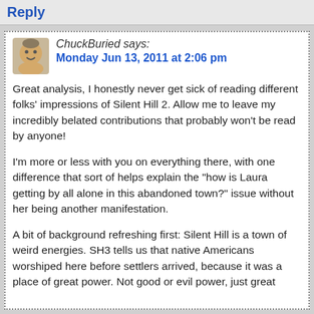Reply
ChuckBuried says: Monday Jun 13, 2011 at 2:06 pm
Great analysis, I honestly never get sick of reading different folks' impressions of Silent Hill 2. Allow me to leave my incredibly belated contributions that probably won't be read by anyone!
I'm more or less with you on everything there, with one difference that sort of helps explain the “how is Laura getting by all alone in this abandoned town?” issue without her being another manifestation.
A bit of background refreshing first: Silent Hill is a town of weird energies. SH3 tells us that native Americans worshiped here before settlers arrived, because it was a place of great power. Not good or evil power, just great